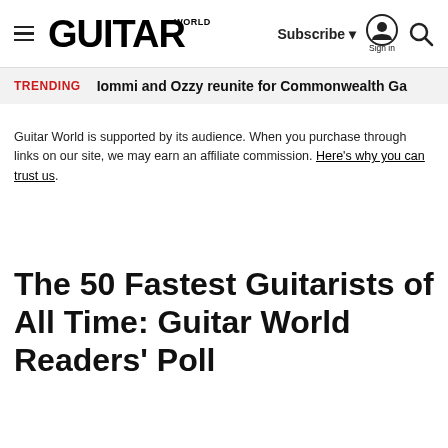Guitar World — Subscribe | Sign in | Search
TRENDING   Iommi and Ozzy reunite for Commonwealth Ga
Guitar World is supported by its audience. When you purchase through links on our site, we may earn an affiliate commission. Here's why you can trust us.
The 50 Fastest Guitarists of All Time: Guitar World Readers' Poll